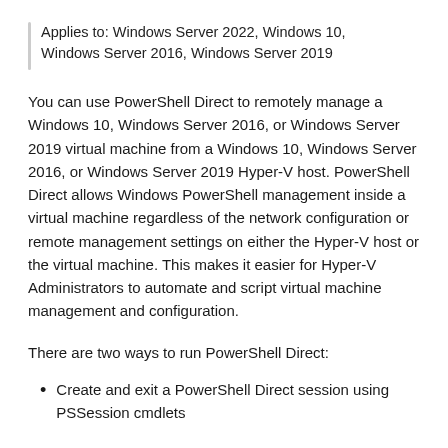Applies to: Windows Server 2022, Windows 10, Windows Server 2016, Windows Server 2019
You can use PowerShell Direct to remotely manage a Windows 10, Windows Server 2016, or Windows Server 2019 virtual machine from a Windows 10, Windows Server 2016, or Windows Server 2019 Hyper-V host. PowerShell Direct allows Windows PowerShell management inside a virtual machine regardless of the network configuration or remote management settings on either the Hyper-V host or the virtual machine. This makes it easier for Hyper-V Administrators to automate and script virtual machine management and configuration.
There are two ways to run PowerShell Direct:
Create and exit a PowerShell Direct session using PSSession cmdlets